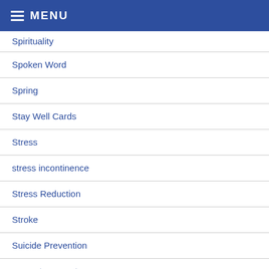MENU
Spirituality
Spoken Word
Spring
Stay Well Cards
Stress
stress incontinence
Stress Reduction
Stroke
Suicide Prevention
support surrogates
surgical menopause
Surrogate decision makers